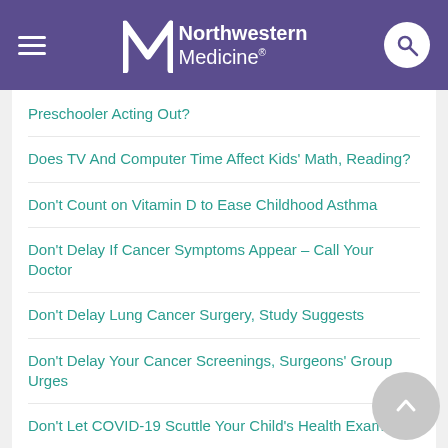Northwestern Medicine
Preschooler Acting Out?
Does TV And Computer Time Affect Kids' Math, Reading?
Don't Count on Vitamin D to Ease Childhood Asthma
Don't Delay If Cancer Symptoms Appear &ndash; Call Your Doctor
Don't Delay Lung Cancer Surgery, Study Suggests
Don't Delay Your Cancer Screenings, Surgeons' Group Urges
Don't Let COVID-19 Scuttle Your Child's Health Exams